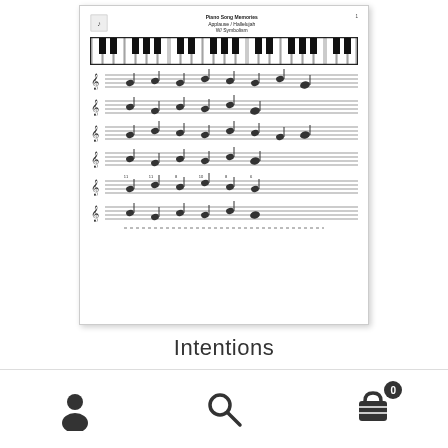[Figure (illustration): Thumbnail preview of a sheet music page titled 'Piano Song Memories' showing a piano keyboard diagram at the top followed by multiple rows of musical notation with fingering numbers]
Intentions
$0.00
Add to cart
[Figure (other): Bottom navigation bar with user account icon (person silhouette), search icon (magnifying glass), and shopping cart icon with badge showing 0]